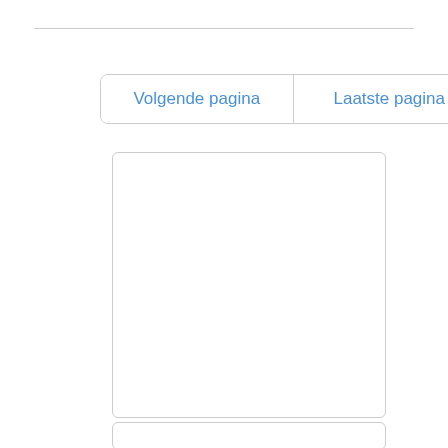[Figure (screenshot): Navigation buttons: 'Volgende pagina' and 'Laatste pagina' in blue text on white rounded-corner button bar]
[Figure (other): Large empty white rounded rectangle box]
[Figure (other): Smaller empty white rounded rectangle box at bottom]